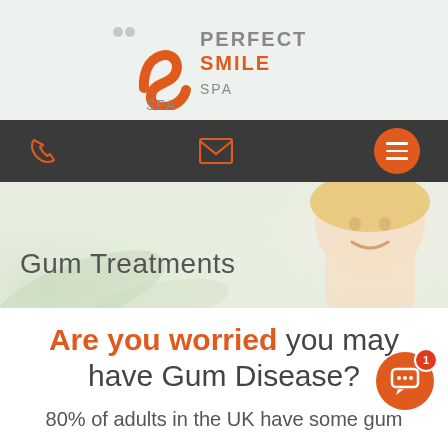[Figure (logo): Perfect Smile Spa logo with orange stylized letter S and text PERFECT SMILE SPA]
[Figure (other): Dark navigation bar with phone icon, email icon, and orange circular menu hamburger button]
[Figure (photo): Hero banner showing smiling woman with text 'Gum Treatments' overlaid on a light green/beige background]
Are you worried you may have Gum Disease?
80% of adults in the UK have some gum